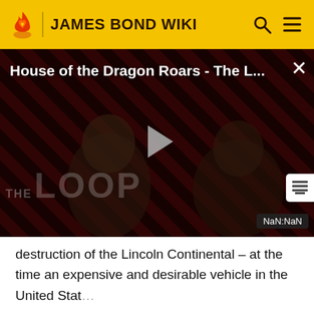JAMES BOND WIKI
[Figure (screenshot): Video player thumbnail showing 'House of the Dragon Roars - The L...' with a play button in the center, 'THE LOOP' text overlay, and 'NaN:NaN' timestamp badge in the bottom right. Background has diagonal red and dark stripes with two figures visible.]
destruction of the Lincoln Continental – at the time an expensive and desirable vehicle in the United Stat…
In the end sequence, when the atomic bomb is defused, the original ending countdown shown was "003" seconds remaining to detonation. When the film was released in the U.S. the producers changed it to…